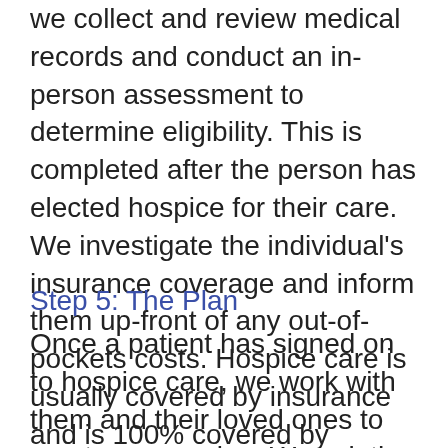we collect and review medical records and conduct an in-person assessment to determine eligibility. This is completed after the person has elected hospice for their care. We investigate the individual's insurance coverage and inform them up-front of any out-of-pockets costs. Hospice care is usually covered by insurance and is 100% covered by Medicare. For those who do not qualify for insurance, benevolence can be an option.
Step 5: The Plan
Once a patient has signed on to hospice care, we work with them and their loved ones to create a care plan. We ask the patient what their wishes are and develop a plan from there. Together, we determine which services, equipment, and resources are required. Plans